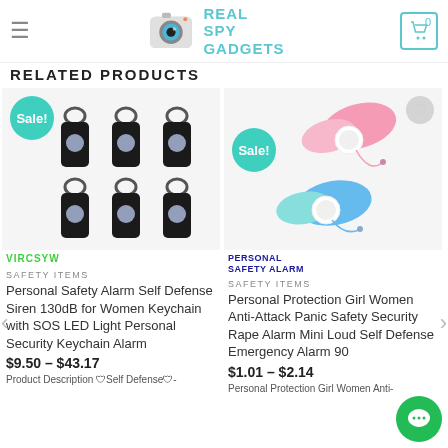Real Spy Gadgets — navigation header with logo and cart
RELATED PRODUCTS
[Figure (photo): 6-pack of black personal safety alarm keychain devices arranged in a 2x3 grid with a Sale! badge]
VIRCSYW
[Figure (photo): Two butterfly-shaped personal safety alarm devices in pink and blue colors with Sale! badge and wishlist heart icon]
PERSONAL SAFETY ALARM
SAFETY ITEMS
Personal Safety Alarm Self Defense Siren 130dB for Women Keychain with SOS LED Light Personal Security Keychain Alarm
$9.50 – $43.17
Product Description 🛡Self Defense🛡-
SAFETY ITEMS
Personal Protection Girl Women Anti-Attack Panic Safety Security Rape Alarm Mini Loud Self Defense Emergency Alarm 90
$1.01 – $2.14
Personal Protection Girl Women Anti-